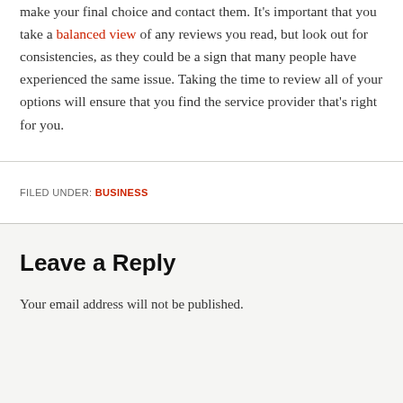make your final choice and contact them. It's important that you take a balanced view of any reviews you read, but look out for consistencies, as they could be a sign that many people have experienced the same issue. Taking the time to review all of your options will ensure that you find the service provider that's right for you.
FILED UNDER: BUSINESS
Leave a Reply
Your email address will not be published.